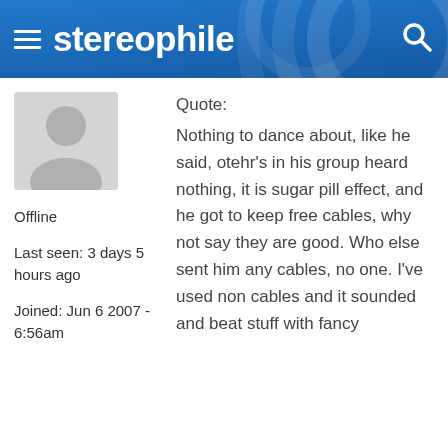stereophile
[Figure (illustration): Default user avatar silhouette on grey background]
Offline

Last seen: 3 days 5 hours ago

Joined: Jun 6 2007 - 6:56am
Quote:
Nothing to dance about, like he said, otehr's in his group heard nothing, it is sugar pill effect, and he got to keep free cables, why not say they are good. Who else sent him any cables, no one. I've used non cables and it sounded and beat stuff with fancy